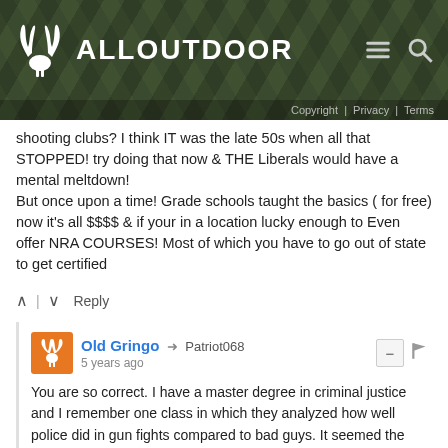ALLOUTDOOR | Copyright | Privacy | Terms
shooting clubs? I think IT was the late 50s when all that STOPPED! try doing that now & THE Liberals would have a mental meltdown!
But once upon a time! Grade schools taught the basics ( for free) now it's all $$$$ & if your in a location lucky enough to Even offer NRA COURSES! Most of which you have to go out of state to get certified
^ | v  Reply
Old Gringo → Patriot068
5 years ago
You are so correct. I have a master degree in criminal justice and I remember one class in which they analyzed how well police did in gun fights compared to bad guys. It seemed the bad guys who had zero training could hit about twice as often and the cops with all the training. The studies came down to the fact, that bad guys just pointed and shot often while running. Personally, I think if you can